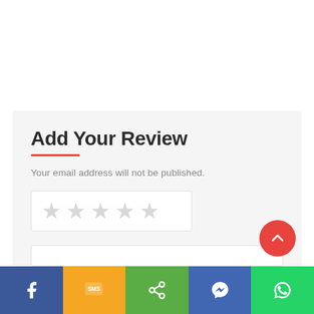Add Your Review
Your email address will not be published.
[Figure (other): Five empty star rating input widget inside a white bordered box]
Name:*
[Figure (other): Scroll-to-top floating action button (red circle with upward chevron arrow)]
Social share bar: Facebook, SMS, Share, Messenger, WhatsApp